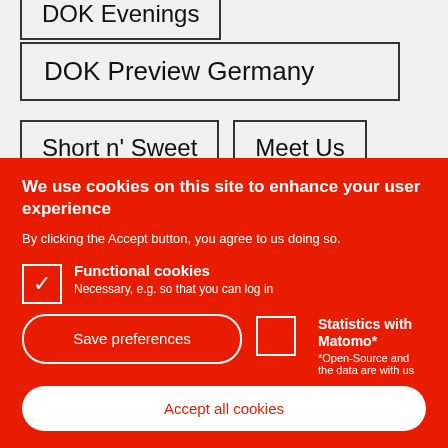DOK Evenings
DOK Preview Germany
Short n' Sweet
Meet Us
We use cookies on this site to enhance your user experience
By clicking the Accept button, you agree to us doing so.
Functional cookies – Necessary, e.g. so that you can log in
Statistics with Matomo* – *Open-Source and the data are with us
Save preferences
Accept all cookies